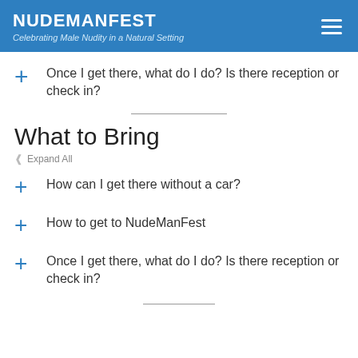NUDEMANFEST — Celebrating Male Nudity in a Natural Setting
Once I get there, what do I do? Is there reception or check in?
What to Bring
Expand All
How can I get there without a car?
How to get to NudeManFest
Once I get there, what do I do? Is there reception or check in?